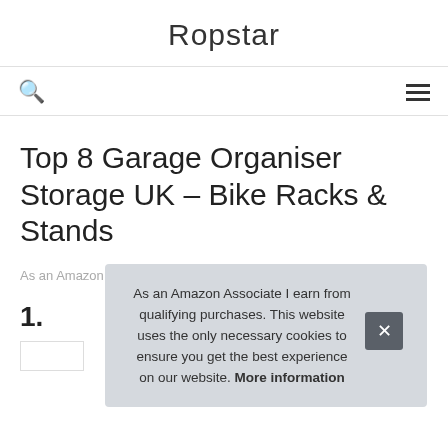Ropstar
Top 8 Garage Organiser Storage UK – Bike Racks & Stands
As an Amazon Associate I earn from qualifying purchases.
1.
As an Amazon Associate I earn from qualifying purchases. This website uses the only necessary cookies to ensure you get the best experience on our website. More information